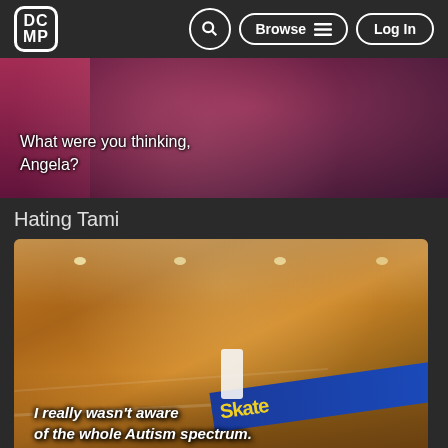DCMP | Browse | Log In
[Figure (screenshot): Video thumbnail showing a person in a pink/magenta top with subtitle text 'What were you thinking, Angela?']
Hating Tami
[Figure (screenshot): Video thumbnail showing a skate park filmed with fisheye lens, with subtitle text 'I really wasn't aware of the whole Autism spectrum.' and a skate park banner visible.]